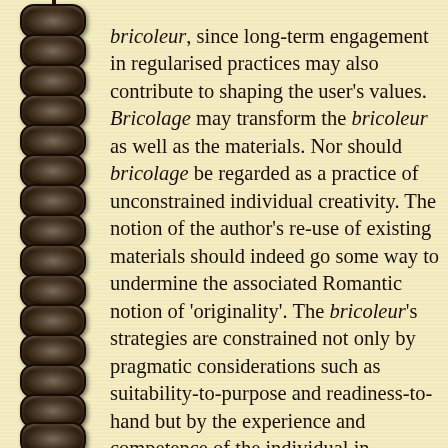bricoleur, since long-term engagement in regularised practices may also contribute to shaping the user's values. Bricolage may transform the bricoleur as well as the materials. Nor should bricolage be regarded as a practice of unconstrained individual creativity. The notion of the author's re-use of existing materials should indeed go some way to undermine the associated Romantic notion of 'originality'. The bricoleur's strategies are constrained not only by pragmatic considerations such as suitability-to-purpose and readiness-to-hand but by the experience and competence of the individual in selecting and using 'appropriate' materials. Whilst the social shaping of such practices may not often be visible to the user, subcultures generate conventions about materials and uses which are deemed appropriate for their members. The habitual use of certain